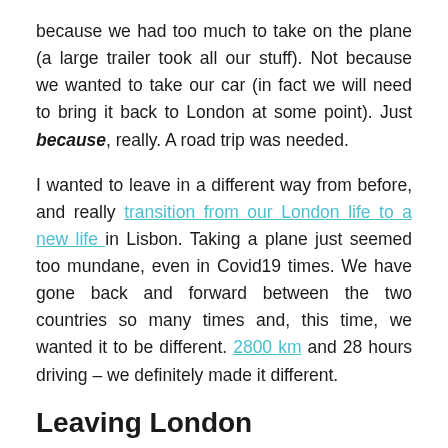because we had too much to take on the plane (a large trailer took all our stuff). Not because we wanted to take our car (in fact we will need to bring it back to London at some point). Just because, really. A road trip was needed.
I wanted to leave in a different way from before, and really transition from our London life to a new life in Lisbon. Taking a plane just seemed too mundane, even in Covid19 times. We have gone back and forward between the two countries so many times and, this time, we wanted it to be different. 2800 km and 28 hours driving – we definitely made it different.
Leaving London